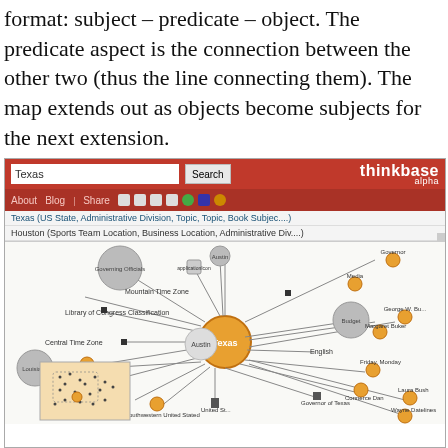format: subject – predicate – object. The predicate aspect is the connection between the other two (thus the line connecting them). The map extends out as objects become subjects for the next extension.
[Figure (screenshot): Screenshot of Thinkbase alpha interface showing a knowledge graph/concept map centered on 'Texas'. The interface has a dark red navigation bar with search box, the Thinkbase logo, nav items (About, Blog, Share), and a map area showing Texas connected to many related nodes including Houston, Austin, Governor of Texas, United States Senate, Mountain Time Zone, Central Time Zone, Library of Congress Classification, and many other concepts. Nodes are connected by lines radiating from the central Texas node.]